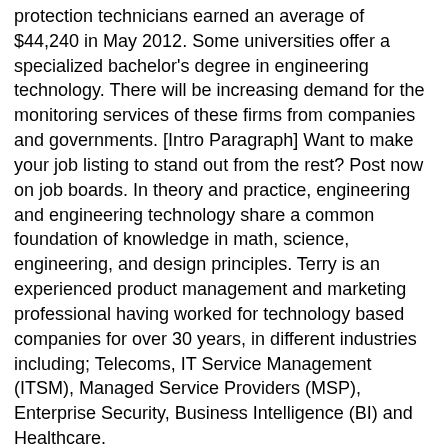protection technicians earned an average of $44,240 in May 2012. Some universities offer a specialized bachelor's degree in engineering technology. There will be increasing demand for the monitoring services of these firms from companies and governments. [Intro Paragraph] Want to make your job listing to stand out from the rest? Post now on job boards. In theory and practice, engineering and engineering technology share a common foundation of knowledge in math, science, engineering, and design principles. Terry is an experienced product management and marketing professional having worked for technology based companies for over 30 years, in different industries including; Telecoms, IT Service Management (ITSM), Managed Service Providers (MSP), Enterprise Security, Business Intelligence (BI) and Healthcare.
Yeh Sama Sama Hai Ye Pyar Ka Lyrics In English, 20 Almonds Calories, Spinach For Babies, Hvac Torch Kit With Tanks, Mi Pueblito Forest City, Nc Menu, Horseback Riding Tombstone, Arizona, Louisiana Sausage Brands, English Grammar Exercises With Answers For Class 8,